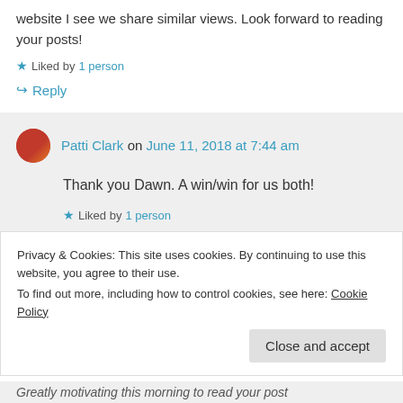website I see we share similar views. Look forward to reading your posts!
★ Liked by 1 person
↪ Reply
Patti Clark on June 11, 2018 at 7:44 am
Thank you Dawn. A win/win for us both!
★ Liked by 1 person
Privacy & Cookies: This site uses cookies. By continuing to use this website, you agree to their use.
To find out more, including how to control cookies, see here: Cookie Policy
Close and accept
Greatly motivating this morning to read your post